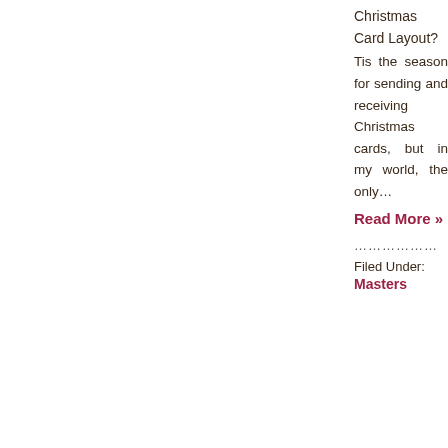Christmas Card Layout?
Tis the season for sending and receiving Christmas cards, but in my world, the only…
Read More »
………………
Filed Under:
Masters